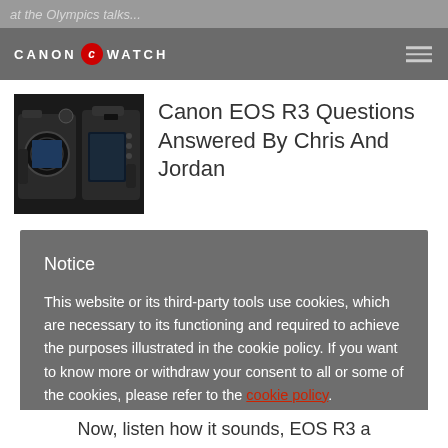at the Olympics talks...
[Figure (logo): Canon Watch brand logo with red circle emblem between CANON and WATCH text]
Canon EOS R3 Questions Answered By Chris And Jordan
[Figure (photo): Canon EOS R3 camera body front and rear view thumbnail]
Notice
This website or its third-party tools use cookies, which are necessary to its functioning and required to achieve the purposes illustrated in the cookie policy. If you want to know more or withdraw your consent to all or some of the cookies, please refer to the cookie policy.
By closing this banner you agree to the use of cookies.
keep disabled
ENABLE
Now, listen how it sounds, EOS R3 a